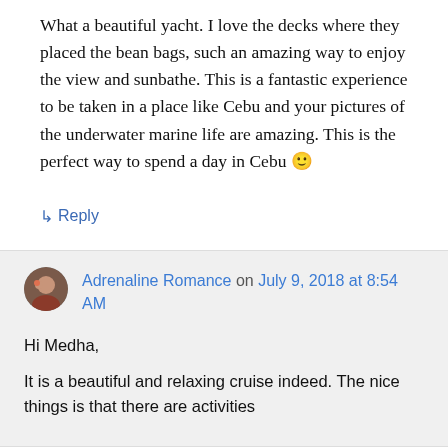What a beautiful yacht. I love the decks where they placed the bean bags, such an amazing way to enjoy the view and sunbathe. This is a fantastic experience to be taken in a place like Cebu and your pictures of the underwater marine life are amazing. This is the perfect way to spend a day in Cebu 🙂
↳ Reply
Adrenaline Romance on July 9, 2018 at 8:54 AM
Hi Medha,

It is a beautiful and relaxing cruise indeed. The nice things is that there are activities